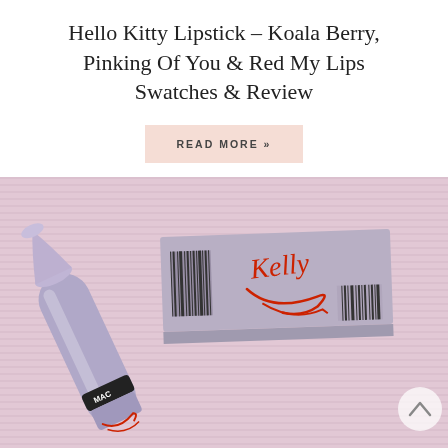Hello Kitty Lipstick – Koala Berry, Pinking Of You & Red My Lips Swatches & Review
READ MORE »
[Figure (photo): MAC Hello Kitty lipstick in a lavender/lilac case lying next to its box on a pink striped background. The box has a red script signature. The lipstick tube is open showing the bullet.]